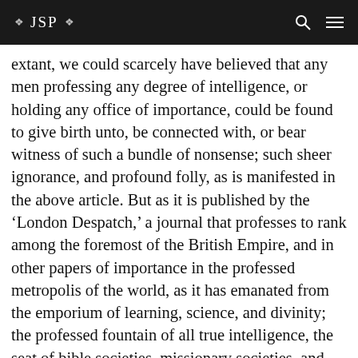❖ JSP ❖
extant, we could scarcely have believed that any men professing any degree of intelligence, or holding any office of importance, could be found to give birth unto, be connected with, or bear witness of such a bundle of nonsense; such sheer ignorance, and profound folly, as is manifested in the above article. But as it is published by the 'London Despatch,' a journal that professes to rank among the foremost of the British Empire, and in other papers of importance in the professed metropolis of the world, as it has emanated from the emporium of learning, science, and divinity; the professed fountain of all true intelligence, the seat of bible societies, missionary societies, and tract societies; the place where nobles are